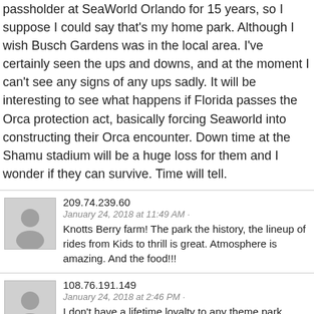passholder at SeaWorld Orlando for 15 years, so I suppose I could say that's my home park. Although I wish Busch Gardens was in the local area. I've certainly seen the ups and downs, and at the moment I can't see any signs of any ups sadly. It will be interesting to see what happens if Florida passes the Orca protection act, basically forcing Seaworld into constructing their Orca encounter. Down time at the Shamu stadium will be a huge loss for them and I wonder if they can survive. Time will tell.
209.74.239.60
January 24, 2018 at 11:49 AM · Knotts Berry farm! The park the history, the lineup of rides from Kids to thrill is great. Atmosphere is amazing. And the food!!!
108.76.191.149
January 24, 2018 at 2:46 PM · I don't have a lifetime loyalty to any theme park... otherwise they will stop building new rides.